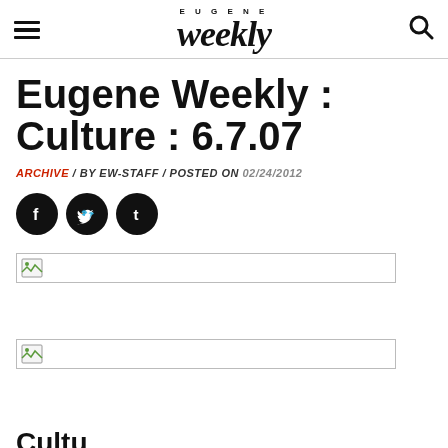EUGENE Weekly
Eugene Weekly : Culture : 6.7.07
ARCHIVE / BY EW-STAFF / POSTED ON 02/24/2012
[Figure (illustration): Social media share icons: Facebook, Twitter, Tumblr (black circles with white logos)]
[Figure (photo): Broken image placeholder 1]
[Figure (photo): Broken image placeholder 2]
Cultu...